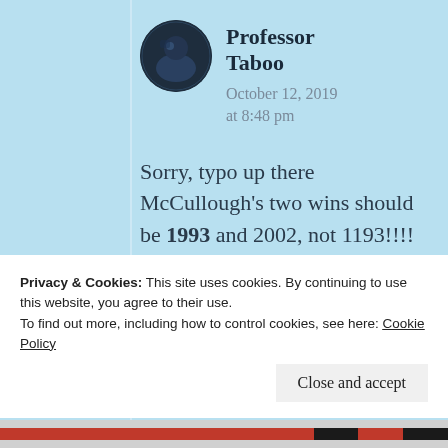[Figure (photo): Circular avatar image of Professor Taboo — dark blue tones, person outdoors]
Professor Taboo
October 12, 2019
at 8:48 pm
Sorry, typo up there McCullough's two wins should be 1993 and 2002, not 1193!!!!
Privacy & Cookies: This site uses cookies. By continuing to use this website, you agree to their use.
To find out more, including how to control cookies, see here: Cookie Policy
Close and accept